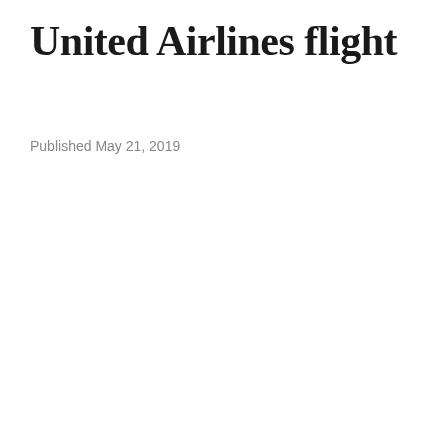United Airlines flight
Published May 21, 2019